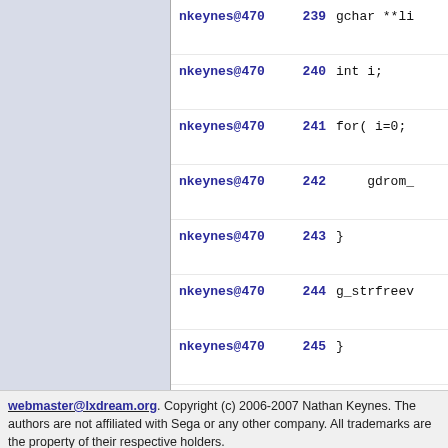| author | line | code |
| --- | --- | --- |
| nkeynes@470 | 239 | gchar **li |
| nkeynes@470 | 240 | int i; |
| nkeynes@470 | 241 | for( i=0; |
| nkeynes@470 | 242 | gdrom_ |
| nkeynes@470 | 243 | } |
| nkeynes@470 | 244 | g_strfreev |
| nkeynes@470 | 245 | } |
| nkeynes@470 | 246 | } |
webmaster@lxdream.org. Copyright (c) 2006-2007 Nathan Keynes. The authors are not affiliated with Sega or any other company. All trademarks are the property of their respective holders.